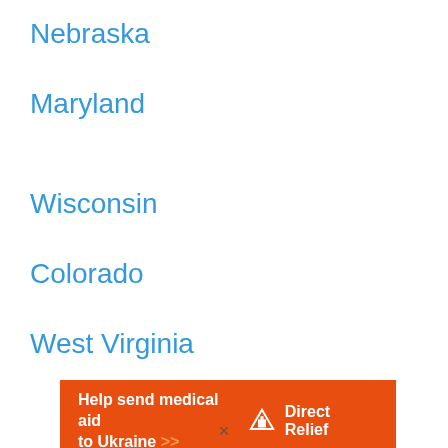Nebraska
Maryland
Wisconsin
Colorado
West Virginia
[Figure (infographic): Orange banner advertisement: 'Help send medical aid to Ukraine >>' with Direct Relief logo and name on the right]
×